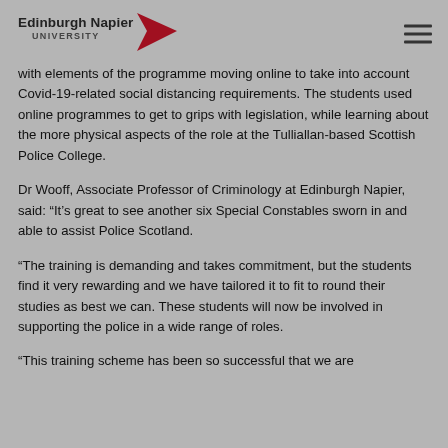Edinburgh Napier University
with elements of the programme moving online to take into account Covid-19-related social distancing requirements. The students used online programmes to get to grips with legislation, while learning about the more physical aspects of the role at the Tulliallan-based Scottish Police College.
Dr Wooff, Associate Professor of Criminology at Edinburgh Napier, said: “It’s great to see another six Special Constables sworn in and able to assist Police Scotland.
“The training is demanding and takes commitment, but the students find it very rewarding and we have tailored it to fit to round their studies as best we can. These students will now be involved in supporting the police in a wide range of roles.
“This training scheme has been so successful that we are